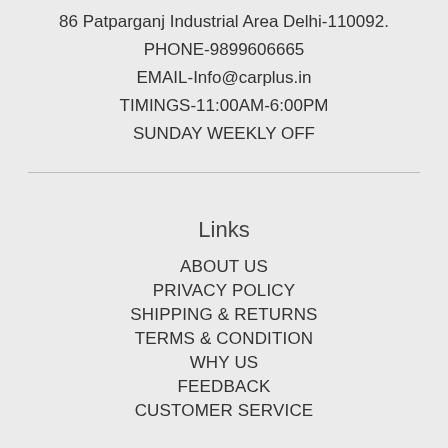86 Patparganj Industrial Area Delhi-110092.
PHONE-9899606665
EMAIL-Info@carplus.in
TIMINGS-11:00AM-6:00PM
SUNDAY WEEKLY OFF
Links
ABOUT US
PRIVACY POLICY
SHIPPING & RETURNS
TERMS & CONDITION
WHY US
FEEDBACK
CUSTOMER SERVICE